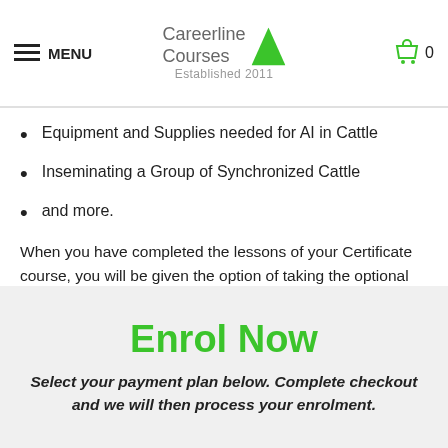MENU | Careerline Courses Established 2011
Equipment and Supplies needed for AI in Cattle
Inseminating a Group of Synchronized Cattle
and more.
When you have completed the lessons of your Certificate course, you will be given the option of taking the optional exam. It's okay if you don't want the exam, we still issue your Careerline Certificate.
Enrol Now
Select your payment plan below. Complete checkout and we will then process your enrolment.